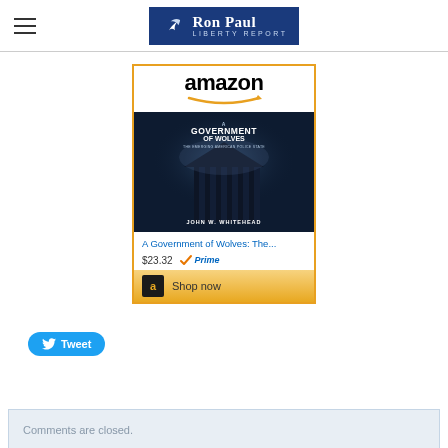Ron Paul Liberty Report
[Figure (infographic): Amazon advertisement for 'A Government of Wolves: The...' priced at $23.32 with Prime badge and Shop now button]
Tweet
Comments are closed.